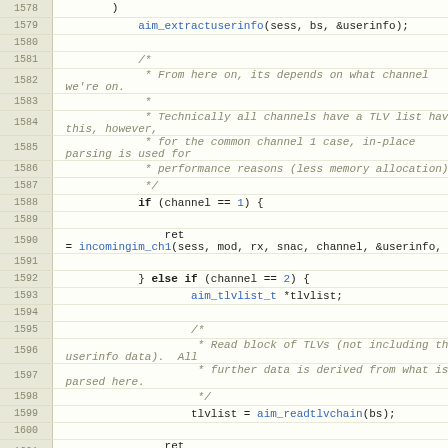Source code listing, lines 1578-1604, C programming language with line numbers and syntax highlighting